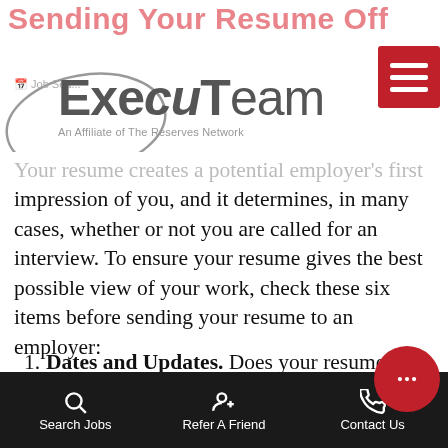Sending Your Resume Off
[Figure (logo): ExecuTeam logo with oval graphic and tagline 'An Affiliate of The Reserves Network', plus red hamburger menu button]
Your resume creates a potential employer's first impression of you, and it determines, in many cases, whether or not you are called for an interview. To ensure your resume gives the best possible view of your work, check these six items before sending your resume to an employer:
Dates and Updates. Does your resume include your most recent work, including any new volunteer positions, projects, or education you've taken on since you reviewed it last? Also, double-check the dates – are they all co...
Search Jobs   Refer A Friend   Contact Us